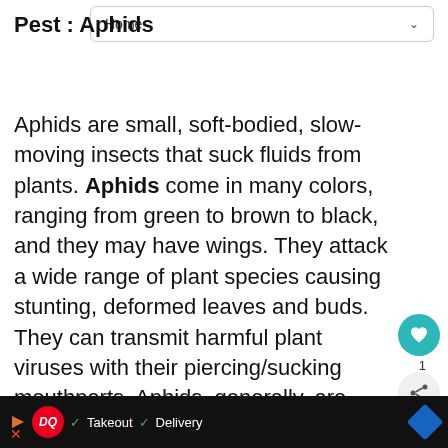Home
Pest : Aphids
Aphids are small, soft-bodied, slow-moving insects that suck fluids from plants. Aphids come in many colors, ranging from green to brown to black, and they may have wings. They attack a wide range of plant species causing stunting, deformed leaves and buds. They can transmit harmful plant viruses with their piercing/sucking mouthparts. Aphids, generally, are merely a nuisance, since it takes many of them to cause serious plant damage. However aphids do produce a sweet substance called honeydew (coveted by ants) wh...
[Figure (screenshot): UI overlay elements: heart/like button (teal circle), share button, What's Next panel showing Aruncus, Astilbe plant info, and Dairy Queen ad banner at bottom]